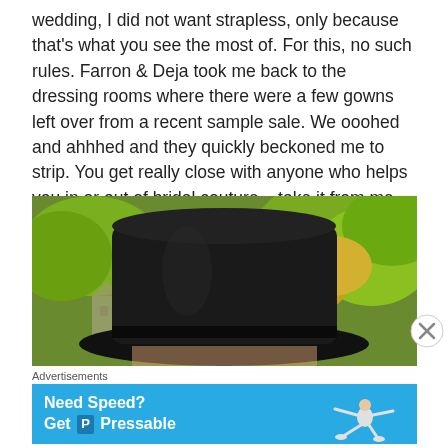wedding, I did not want strapless, only because that's what you see the most of. For this, no such rules. Farron & Deja took me back to the dressing rooms where there were a few gowns left over from a recent sample sale. We ooohed and ahhhed and they quickly beckoned me to strip. You get really close with anyone who helps you in or out of bridal couture – take it from me. Farron & Deja saw me completely nude within moments of our first meeting.
[Figure (photo): A person wearing a large black top hat outdoors, surrounded by trees with green and golden foliage and a building in the background. Only the hat and partial face are visible.]
Advertisements
[Figure (screenshot): Advertisement banner for Pressable hosting: blue background with white bold text reading 'Need Speed? Get P Pressable' and a flying/running figure illustration on the right.]